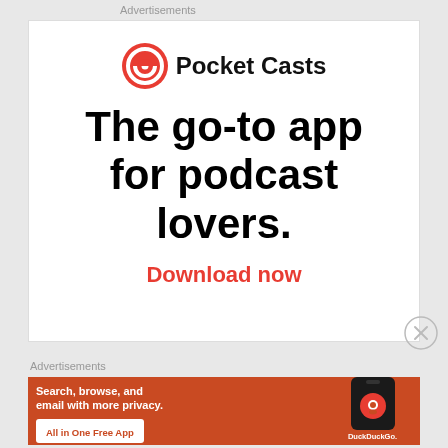Advertisements
[Figure (logo): Pocket Casts logo with orange circular icon and bold black text 'Pocket Casts']
The go-to app for podcast lovers.
Download now
Advertisements
[Figure (infographic): DuckDuckGo advertisement on orange background showing a smartphone with the DuckDuckGo app. Text reads: 'Search, browse, and email with more privacy. All in One Free App'. DuckDuckGo logo visible on phone screen.]